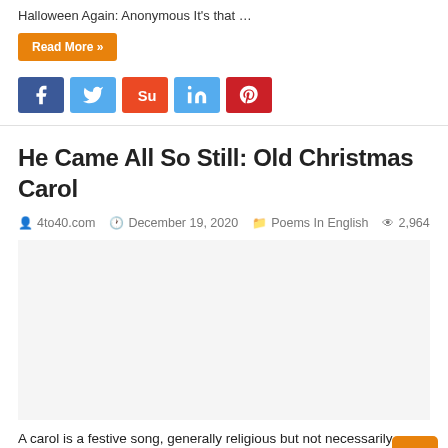Halloween Again: Anonymous It's that …
Read More »
[Figure (other): Social share buttons: Facebook, Twitter, StumbleUpon, LinkedIn, Pinterest]
He Came All So Still: Old Christmas Carol
4to40.com   December 19, 2020   Poems In English   2,964
[Figure (other): Advertisement placeholder area]
A carol is a festive song, generally religious but not necessarily connected with church worship, and often with a dance or a popular